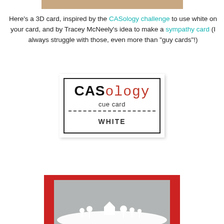[Figure (photo): Partial top edge of a craft card photo visible at very top of page]
Here's a 3D card, inspired by the CASology challenge to use white on your card, and by Tracey McNeely's idea to make a sympathy card (I always struggle with those, even more than "guy cards"!)
[Figure (illustration): CASology cue card image showing 'CASology' logo in bold black and red typewriter font, 'cue card' subtitle, dashed line, and 'WHITE' in bold letters]
[Figure (photo): Partial photo of a handmade 3D sympathy card with white die-cut scene of houses and trees on gray textured background mounted on red card base]